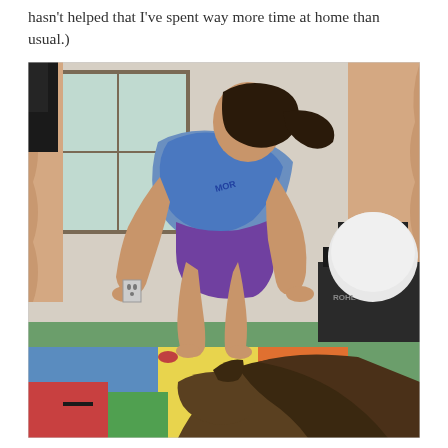hasn't helped that I've spent way more time at home than usual.)
[Figure (photo): A woman doing a push-up or mountain climber exercise position on a colorful foam mat in a home gym, wearing a blue and purple sports outfit. A dog is resting in the foreground on the mat. Exercise equipment including a stability ball and rowing machine are visible in the background.]